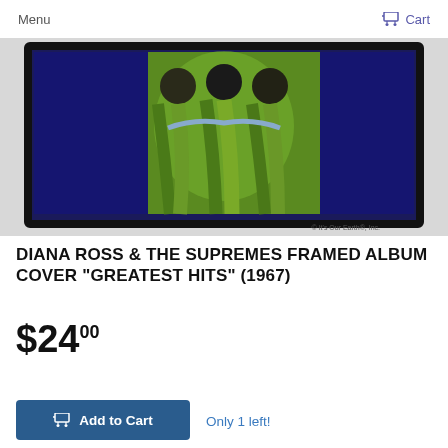Menu  Cart
[Figure (photo): A framed album cover artwork showing three women (Diana Ross and The Supremes) in green dresses against a dark blue background, displayed as a framed art piece on a light surface. Watermark: © It's Our Earth®, Inc.]
DIANA ROSS & THE SUPREMES FRAMED ALBUM COVER "GREATEST HITS" (1967)
$24.00
Add to Cart   Only 1 left!